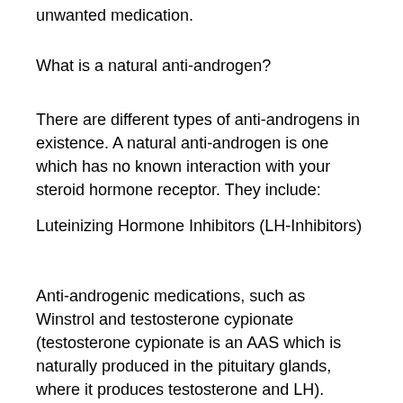unwanted medication.
What is a natural anti-androgen?
There are different types of anti-androgens in existence. A natural anti-androgen is one which has no known interaction with your steroid hormone receptor. They include:
Luteinizing Hormone Inhibitors (LH-Inhibitors)
Anti-androgenic medications, such as Winstrol and testosterone cypionate (testosterone cypionate is an AAS which is naturally produced in the pituitary glands, where it produces testosterone and LH). These medications must be used strictly as anti-androgens. These medications have the sole purpose of blocking or inhibiting the production of testosterone and have no known effect on your body's natural anti-